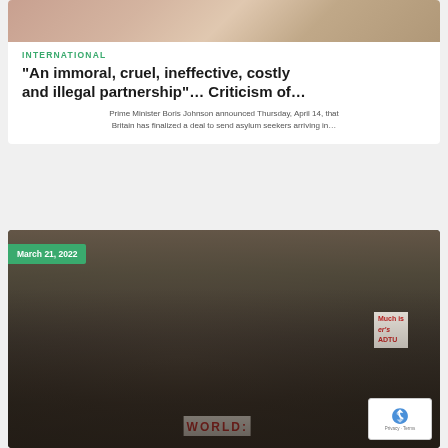[Figure (photo): Partial top image of people, cropped at top of page]
INTERNATIONAL
“An immoral, cruel, ineffective, costly and illegal partnership”… Criticism of…
Prime Minister Boris Johnson announced Thursday, April 14, that Britain has finalized a deal to send asylum seekers arriving in…
[Figure (photo): Crowd of asylum seekers/protesters holding signs including 'WORLD:' in red letters. Date badge: March 21, 2022. reCAPTCHA widget visible in bottom right corner.]